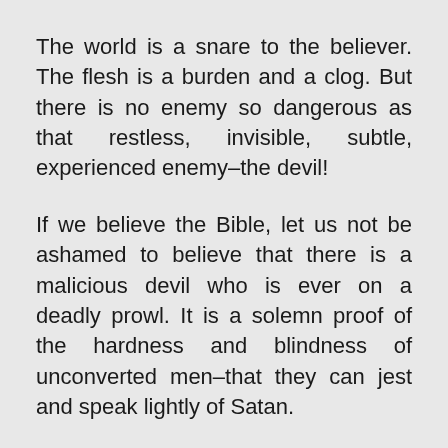The world is a snare to the believer. The flesh is a burden and a clog. But there is no enemy so dangerous as that restless, invisible, subtle, experienced enemy–the devil!
If we believe the Bible, let us not be ashamed to believe that there is a malicious devil who is ever on a deadly prowl. It is a solemn proof of the hardness and blindness of unconverted men–that they can jest and speak lightly of Satan.
If you are a true believer, remember that the devil...